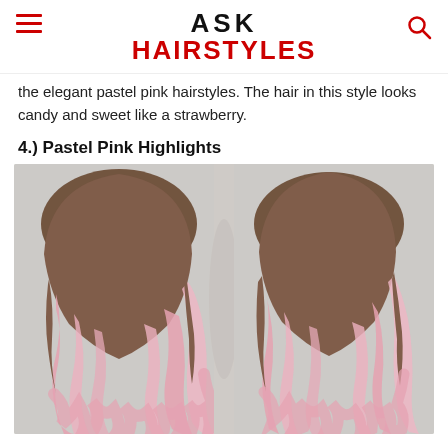ASK HAIRSTYLES
the elegant pastel pink hairstyles. The hair in this style looks candy and sweet like a strawberry.
4.) Pastel Pink Highlights
[Figure (photo): Two back-of-head views of a woman with brown hair and pastel pink highlights/ombre, showing wavy styled hair]